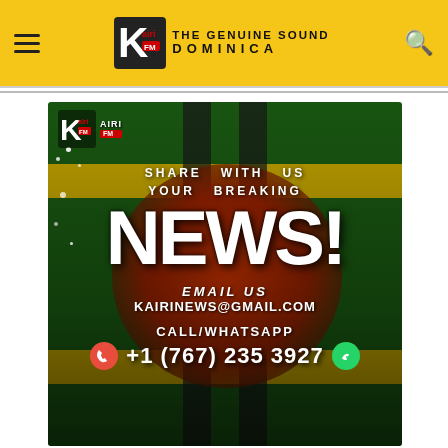Kairi FM — THE GENUINE SOUND DOMINICA
[Figure (infographic): Kairi FM promotional banner: 'Share With Us Your Breaking NEWS!' with email kairinews@gmail.com and call/WhatsApp +1 (767) 235 3927, on a Dominica flag background with a microphone.]